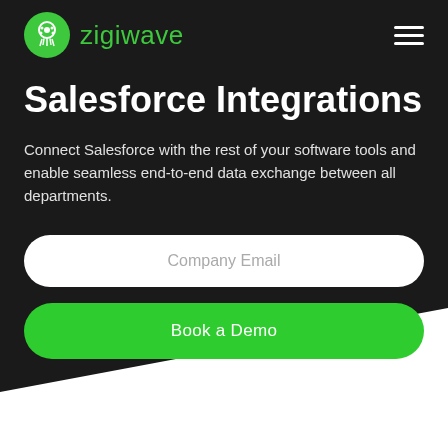[Figure (logo): Zigiwave logo: green circle with white jellyfish/circuit icon, followed by 'zigiwave' text in green]
Salesforce Integrations
Connect Salesforce with the rest of your software tools and enable seamless end-to-end data exchange between all departments.
[Figure (screenshot): Company Email input field - white pill-shaped text input with gray placeholder text]
[Figure (screenshot): Book a Demo button - green pill-shaped button with white text]